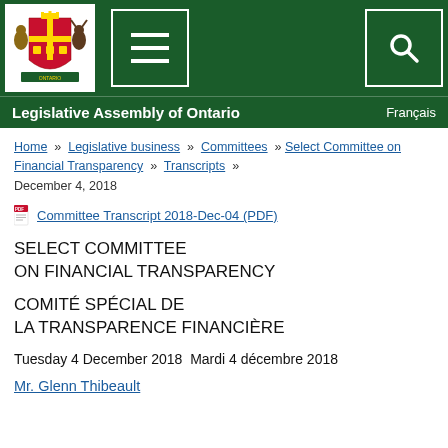[Figure (screenshot): Legislative Assembly of Ontario website header with green navigation bar, Ontario coat of arms logo, hamburger menu button, and search button icon.]
Legislative Assembly of Ontario   Français
Home » Legislative business » Committees » Select Committee on Financial Transparency » Transcripts » December 4, 2018
Committee Transcript 2018-Dec-04 (PDF)
SELECT COMMITTEE
ON FINANCIAL TRANSPARENCY
COMITÉ SPÉCIAL DE
LA TRANSPARENCE FINANCIÈRE
Tuesday 4 December 2018  Mardi 4 décembre 2018
Mr. Glenn Thibeault